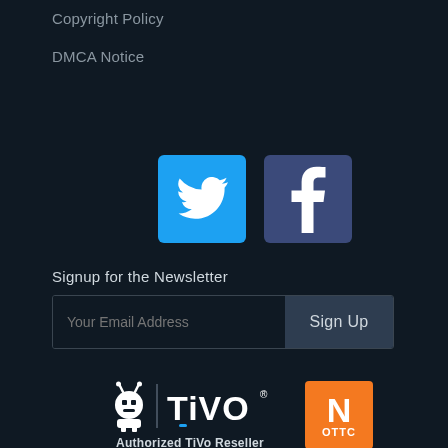Copyright Policy
DMCA Notice
[Figure (logo): Twitter and Facebook social media icon buttons (Twitter blue square with bird icon, Facebook dark blue square with f icon)]
Signup for the Newsletter
[Figure (other): Email signup form with 'Your Email Address' input field and 'Sign Up' button]
[Figure (logo): TiVo logo with antenna mascot and 'Authorized TiVo Reseller' text, next to OTTC orange N logo]